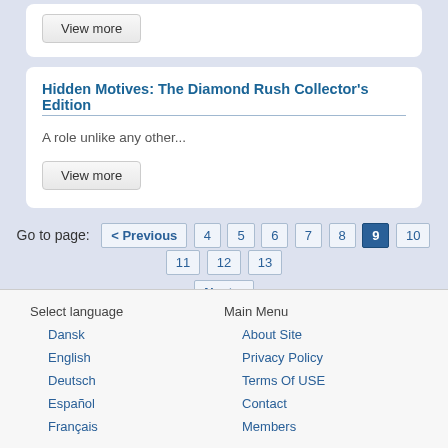View more
Hidden Motives: The Diamond Rush Collector's Edition
A role unlike any other...
View more
Go to page: < Previous  4  5  6  7  8  9  10  11  12  13  Next >
Select language
Dansk
English
Deutsch
Español
Français
Main Menu
About Site
Privacy Policy
Terms Of USE
Contact
Members